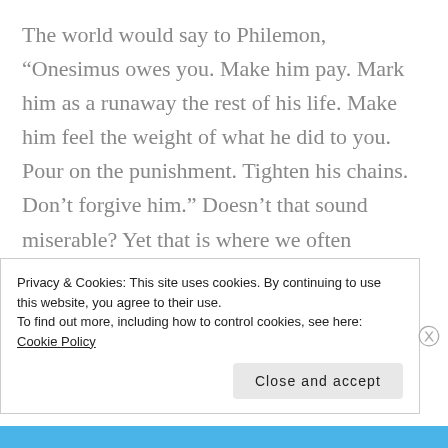The world would say to Philemon, “Onesimus owes you. Make him pay. Mark him as a runaway the rest of his life. Make him feel the weight of what he did to you. Pour on the punishment. Tighten his chains. Don’t forgive him.” Doesn’t that sound miserable? Yet that is where we often gravitate, but there is no personal or corporate benefit to unforgiveness.
Privacy & Cookies: This site uses cookies. By continuing to use this website, you agree to their use.
To find out more, including how to control cookies, see here: Cookie Policy